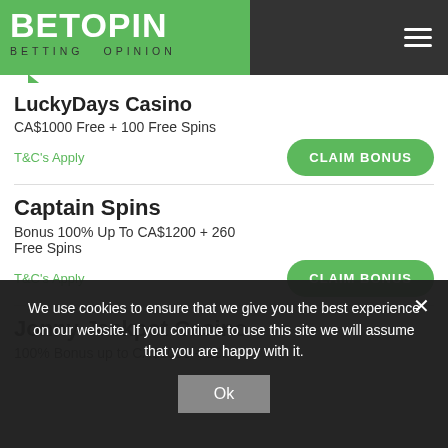[Figure (logo): BetOPin logo — white text on green background with speech bubble shape, subtitle 'BETTING OPINION']
LuckyDays Casino
CA$1000 Free + 100 Free Spins
T&C's Apply
Captain Spins
Bonus 100% Up To CA$1200 + 260 Free Spins
T&C's Apply
Jonny Jackpot Casino
100% Bonus up to CA$1000 + 100
We use cookies to ensure that we give you the best experience on our website. If you continue to use this site we will assume that you are happy with it.